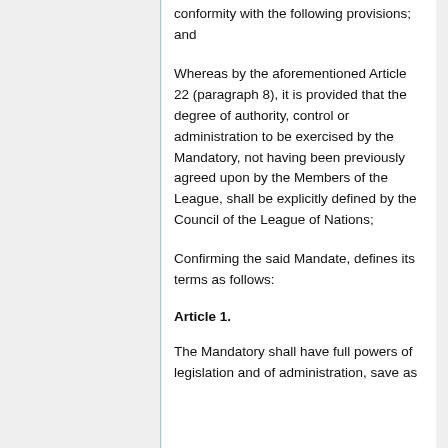conformity with the following provisions; and
Whereas by the aforementioned Article 22 (paragraph 8), it is provided that the degree of authority, control or administration to be exercised by the Mandatory, not having been previously agreed upon by the Members of the League, shall be explicitly defined by the Council of the League of Nations;
Confirming the said Mandate, defines its terms as follows:
Article 1.
The Mandatory shall have full powers of legislation and of administration, save as